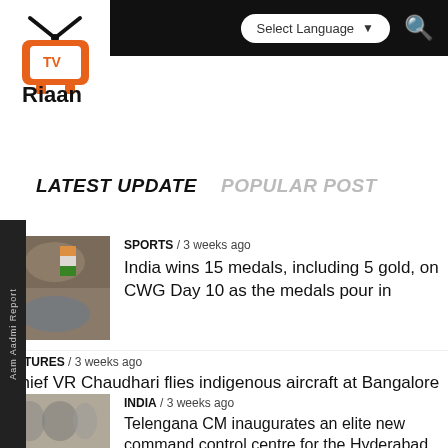[Figure (logo): TV Riaan logo with orange TV antenna icon and black text]
Select Language ▾
LATEST UPDATE   POPULAR POST
[Figure (photo): Sports collage showing athletes winning medals at CWG]
SPORTS / 3 weeks ago
India wins 15 medals, including 5 gold, on CWG Day 10 as the medals pour in
ICTURES / 3 weeks ago
chief VR Chaudhari flies indigenous aircraft at Bangalore
[Figure (photo): Photo of people at Telangana CM inauguration event]
INDIA / 3 weeks ago
Telengana CM inaugurates an elite new command control centre for the Hyderabad police.